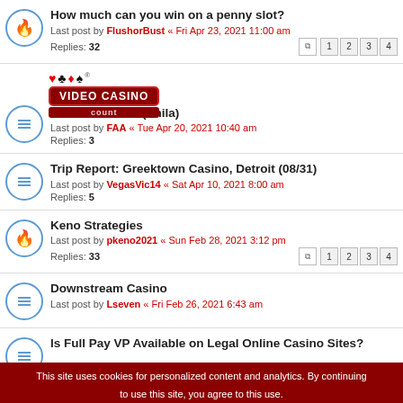How much can you win on a penny slot?
Last post by FlushorBust « Fri Apr 23, 2021 11:00 am
Replies: 32
VIDEO CASINO (Phila)
Last post by FAA « Tue Apr 20, 2021 10:40 am
Replies: 3
Trip Report: Greektown Casino, Detroit (08/31)
Last post by VegasVic14 « Sat Apr 10, 2021 8:00 am
Replies: 5
Keno Strategies
Last post by pkeno2021 « Sun Feb 28, 2021 3:12 pm
Replies: 33
Downstream Casino
Last post by Lseven « Fri Feb 26, 2021 6:43 am
Is Full Pay VP Available on Legal Online Casino Sites?
[Figure (screenshot): Advertisement banner: Pet Food, Products, Supplies at Low Prices - Pay the lowest prices on pet supplies at Chewy.com]
This site uses cookies for personalized content and analytics. By continuing to use this site, you agree to this use.